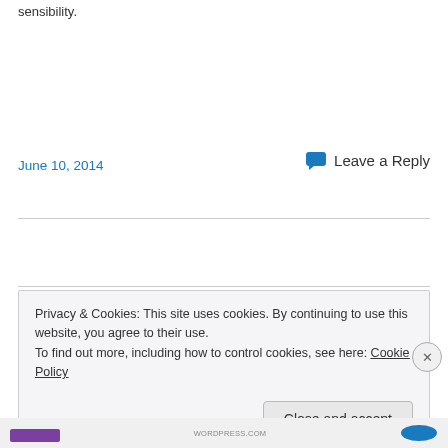sensibility.
June 10, 2014
Leave a Reply
Privacy & Cookies: This site uses cookies. By continuing to use this website, you agree to their use.
To find out more, including how to control cookies, see here: Cookie Policy
Close and accept